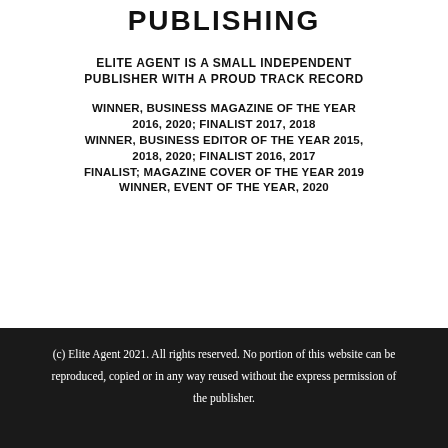PUBLISHING
ELITE AGENT IS A SMALL INDEPENDENT PUBLISHER WITH A PROUD TRACK RECORD
WINNER, BUSINESS MAGAZINE OF THE YEAR 2016, 2020; FINALIST 2017, 2018 WINNER, BUSINESS EDITOR OF THE YEAR 2015, 2018, 2020; FINALIST 2016, 2017 FINALIST; MAGAZINE COVER OF THE YEAR 2019 WINNER, EVENT OF THE YEAR, 2020
(c) Elite Agent 2021. All rights reserved. No portion of this website can be reproduced, copied or in any way reused without the express permission of the publisher.